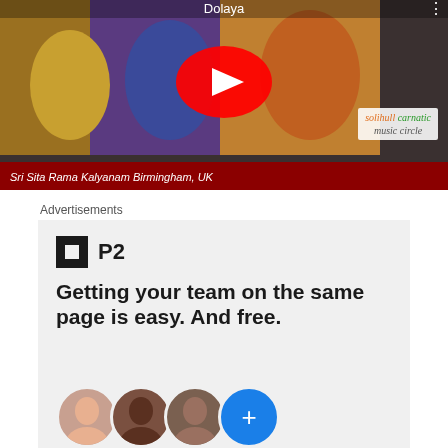[Figure (screenshot): YouTube video thumbnail showing Sri Sita Rama Kalyanam with Hindu religious artwork, YouTube play button overlay, and Solihull Carnatic Music Circle logo]
Sri Sita Rama Kalyanam Birmingham, UK
Advertisements
[Figure (screenshot): P2 advertisement: Getting your team on the same page is easy. And free. Shows P2 logo and user avatars.]